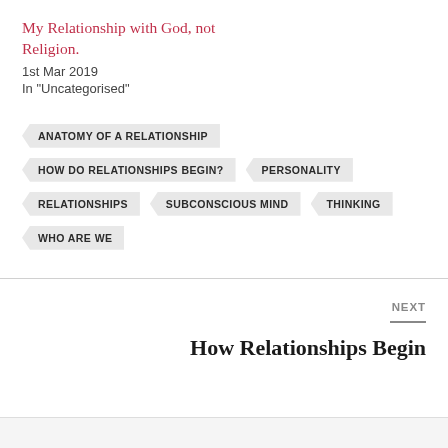My Relationship with God, not Religion.
1st Mar 2019
In "Uncategorised"
ANATOMY OF A RELATIONSHIP
HOW DO RELATIONSHIPS BEGIN?
PERSONALITY
RELATIONSHIPS
SUBCONSCIOUS MIND
THINKING
WHO ARE WE
NEXT
How Relationships Begin